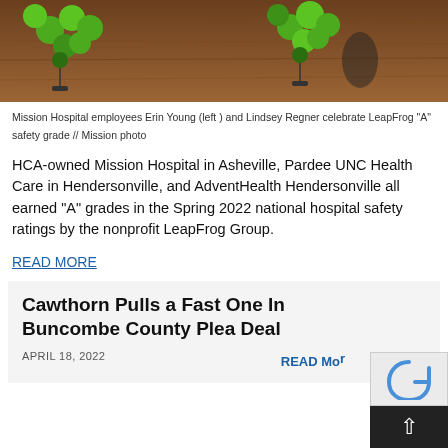[Figure (photo): Photo of wooden floor with green balloon arrangements, bottom portion of photo showing Mission Hospital celebration]
Mission Hospital employees Erin Young (left ) and Lindsey Regner celebrate LeapFrog “A” safety grade // Mission photo
HCA-owned Mission Hospital in Asheville, Pardee UNC Health Care in Hendersonville, and AdventHealth Hendersonville all earned “A” grades in the Spring 2022 national hospital safety ratings by the nonprofit LeapFrog Group.
READ MORE
Cawthorn Pulls a Fast One In Buncombe County Plea Deal
APRIL 18, 2022
READ Mo...